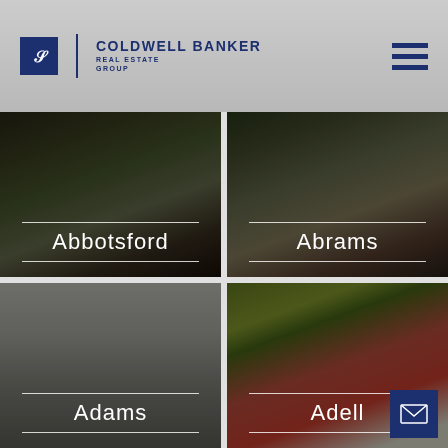Coldwell Banker Real Estate Group
[Figure (photo): Abbotsford location tile — exterior photo of a stone and brick house with trees]
[Figure (photo): Abrams location tile — interior photo of a dining area with large windows]
[Figure (photo): Adams location tile — interior photo of a bright living room]
[Figure (photo): Adell location tile — outdoor porch with colorful chair]